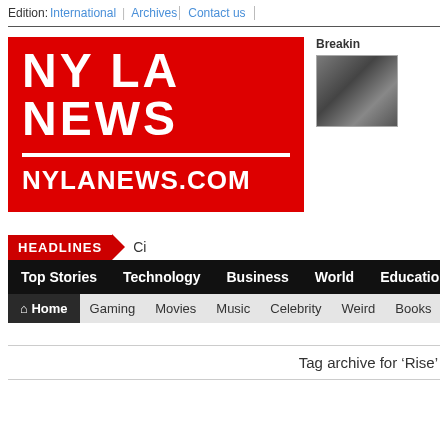Edition: International | Archives | Contact us
[Figure (logo): NY LA NEWS logo in white text on red background with NYLANEWS.COM below a white divider line]
[Figure (photo): Breaking news thumbnail photo of a group of people]
HEADLINES > Ci
Top Stories  Technology  Business  World  Education
Home  Gaming  Movies  Music  Celebrity  Weird  Books  Fo
Tag archive for 'Rise'